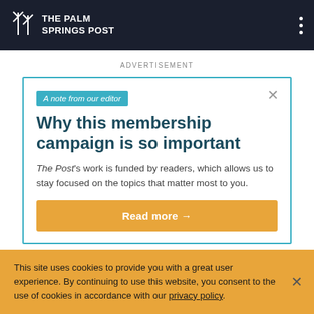The Palm Springs Post
ADVERTISEMENT
A note from our editor
Why this membership campaign is so important
The Post's work is funded by readers, which allows us to stay focused on the topics that matter most to you.
Read more →
This site uses cookies to provide you with a great user experience. By continuing to use this website, you consent to the use of cookies in accordance with our privacy policy.